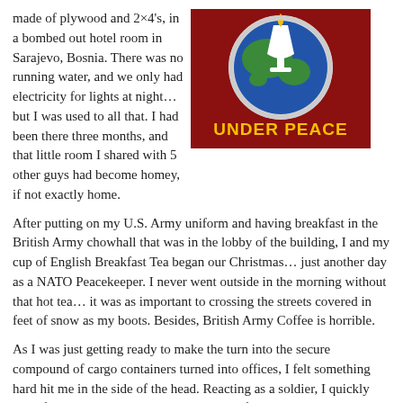made of plywood and 2×4's, in a bombed out hotel room in Sarajevo, Bosnia. There was no running water, and we only had electricity for lights at night… but I was used to all that. I had been there three months, and that little room I shared with 5 other guys had become homey, if not exactly home.
[Figure (logo): Logo showing a globe with a chalice/flame symbol above it on a dark red background, with text 'UNDER PEACE' in yellow letters below.]
After putting on my U.S. Army uniform and having breakfast in the British Army chowhall that was in the lobby of the building, I and my cup of English Breakfast Tea began our Christmas… just another day as a NATO Peacekeeper. I never went outside in the morning without that hot tea… it was as important to crossing the streets covered in feet of snow as my boots. Besides, British Army Coffee is horrible.
As I was just getting ready to make the turn into the secure compound of cargo containers turned into offices, I felt something hard hit me in the side of the head. Reacting as a soldier, I quickly dove for cover behind a berm on the side of the road, and a good thing to. The next weapon that came my way would have hit me square in the chest had I not hit the ground.